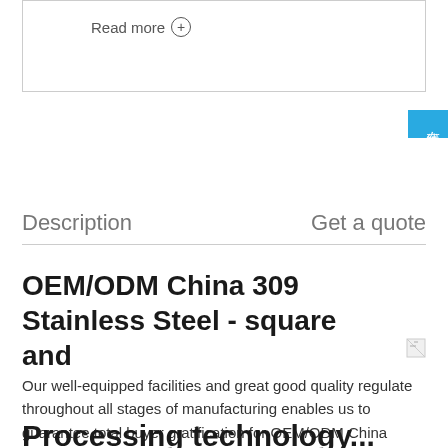Read more ⊕
[Figure (other): Chinese online consultation button in blue with text 在线咨询]
Description    Get a quote
OEM/ODM China 309 Stainless Steel - square and
Our well-equipped facilities and great good quality regulate throughout all stages of manufacturing enables us to guarantee total buyer gratification for OEM/ODM China China Rectangular Square Hollow Section Steel Pipe Yizeng is one of the most professional rectangular
Processing technology...